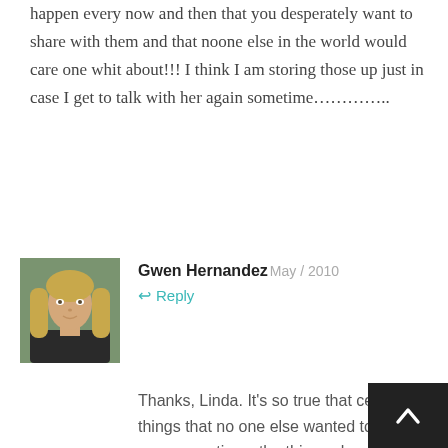happen every now and then that you desperately want to share with them and that noone else in the world would care one whit about!!! I think I am storing those up just in case I get to talk with her again sometime…………..
[Figure (photo): Profile photo of Gwen Hernandez, a blonde woman against a green background]
Gwen Hernandez
May / 2010
↩ Reply
Thanks, Linda. It's so true that certain little things that no one else wanted to know were sometimes the things she cared about most. I your mom too. There ar many things I wish she'd